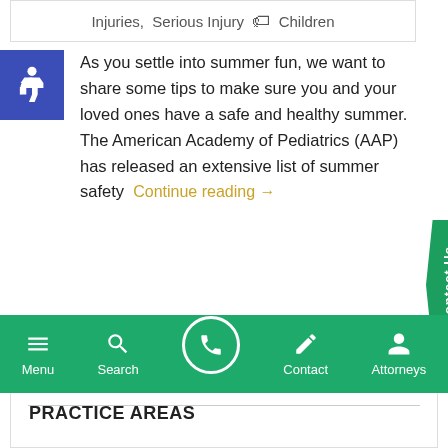Injuries, Serious Injury  🏷 Children
As you settle into summer fun, we want to share some tips to make sure you and your loved ones have a safe and healthy summer. The American Academy of Pediatrics (AAP) has released an extensive list of summer safety
Continue reading →
1  2  ...  10  →
Menu  Search  Contact  Attorneys
PRACTICE AREAS